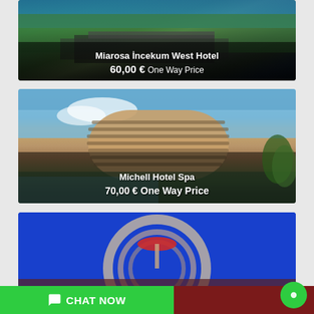[Figure (photo): Aerial view of Miarosa Incekum West Hotel showing buildings surrounded by trees and coastline]
Miarosa İncekum West Hotel
60,00 € One Way Price
[Figure (photo): Photo of Michell Hotel Spa showing a large rounded cylindrical building against a blue sky with pool area]
Michell Hotel Spa
70,00 € One Way Price
[Figure (photo): Partial photo of a third hotel showing circular architectural element against bright blue sky]
CHAT NOW